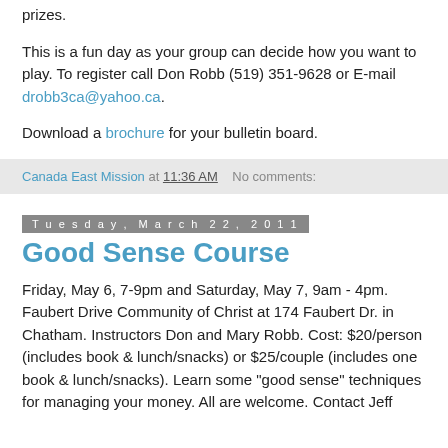prizes.
This is a fun day as your group can decide how you want to play. To register call Don Robb (519) 351-9628 or E-mail drobb3ca@yahoo.ca.
Download a brochure for your bulletin board.
Canada East Mission at 11:36 AM   No comments:
Tuesday, March 22, 2011
Good Sense Course
Friday, May 6, 7-9pm and Saturday, May 7, 9am - 4pm. Faubert Drive Community of Christ at 174 Faubert Dr. in Chatham. Instructors Don and Mary Robb. Cost: $20/person (includes book & lunch/snacks) or $25/couple (includes one book & lunch/snacks). Learn some "good sense" techniques for managing your money. All are welcome. Contact Jeff